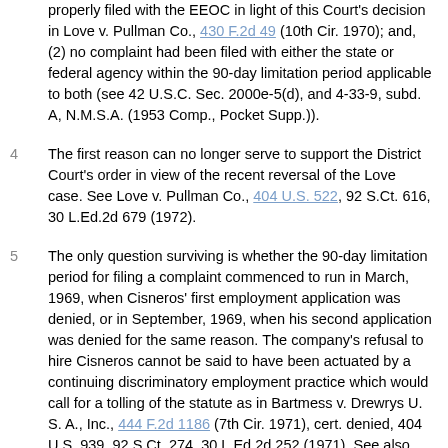properly filed with the EEOC in light of this Court's decision in Love v. Pullman Co., 430 F.2d 49 (10th Cir. 1970); and, (2) no complaint had been filed with either the state or federal agency within the 90-day limitation period applicable to both (see 42 U.S.C. Sec. 2000e-5(d), and 4-33-9, subd. A, N.M.S.A. (1953 Comp., Pocket Supp.)).
4  The first reason can no longer serve to support the District Court's order in view of the recent reversal of the Love case. See Love v. Pullman Co., 404 U.S. 522, 92 S.Ct. 616, 30 L.Ed.2d 679 (1972).
5  The only question surviving is whether the 90-day limitation period for filing a complaint commenced to run in March, 1969, when Cisneros' first employment application was denied, or in September, 1969, when his second application was denied for the same reason. The company's refusal to hire Cisneros cannot be said to have been actuated by a continuing discriminatory employment practice which would call for a tolling of the statute as in Bartmess v. Drewrys U. S. A., Inc., 444 F.2d 1186 (7th Cir. 1971), cert. denied, 404 U.S. 939, 92 S.Ct. 274, 30 L.Ed.2d 252 (1971). See also Tippett v. Liggett & Myers Tobacco Co., 316 F.Supp. 292 (M.D.N.C.1970), and cases cited therein at 295-296. Nor was this a single, isolated, allegedly